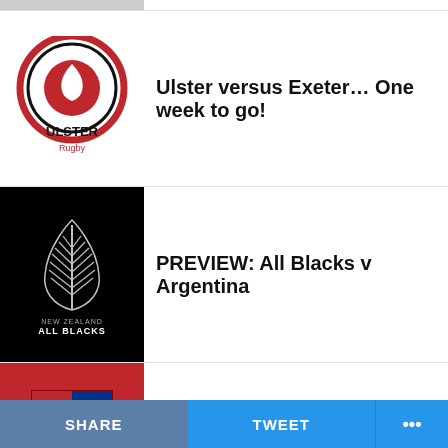[Figure (photo): Partial image at top, cropped]
Ulster versus Exeter... One week to go!
PREVIEW: All Blacks v Argentina
Tommy Bowe to become trustee of The British & Irish Lions Charitable Trust
McWilliams Names Ireland Team For Second Test Against Japan
SA Select XIII from Momentum Em... (partial)
SHARE   TWEET   ...